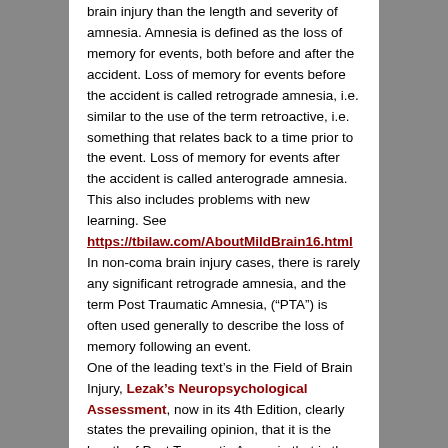brain injury than the length and severity of amnesia. Amnesia is defined as the loss of memory for events, both before and after the accident. Loss of memory for events before the accident is called retrograde amnesia, i.e. similar to the use of the term retroactive, i.e. something that relates back to a time prior to the event. Loss of memory for events after the accident is called anterograde amnesia. This also includes problems with new learning. See https://tbilaw.com/AboutMildBrain16.html In non-coma brain injury cases, there is rarely any significant retrograde amnesia, and the term Post Traumatic Amnesia, (“PTA”) is often used generally to describe the loss of memory following an event. One of the leading text’s in the Field of Brain Injury, Lezak’s Neuropsychological Assessment, now in its 4th Edition, clearly states the prevailing opinion, that it is the length of Post Traumatic Amnesia that is the biggest predictor of outcome after a brain injury. The 4th Edition